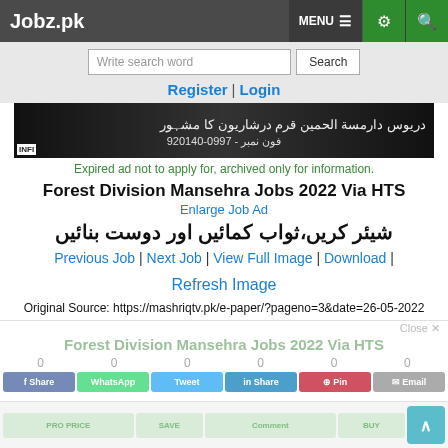Jobz.pk | MENU | settings | search
Write search word | Search
Register | Login
[Figure (screenshot): Dark advertisement image with Urdu text and phone number 0997-920140]
Expired ad not to apply for, archived only for information.
Forest Division Mansehra Jobs 2022 Via HTS
Enlarge Job Ad
شیئر کریں،ثواب کمائیں اور دوست بنائیں
Previous Job | Next Job | View Full Image | Download | Refresh Image
Original Source: https://mashriqtv.pk/e-paper/?pageno=3&date=26-05-2022
Forest Division Mansehra Jobs 2022 Via HTS
0  0  0  0  0  0
Share | WhatsApp | Tweet | Share | Pin | Email
PRO PRICE | SAVE | Comment | BUY | ^ scroll to top